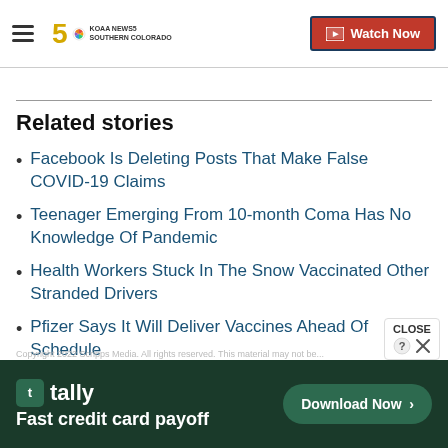KOAA NEWS5 SOUTHERN COLORADO | Watch Now
Related stories
Facebook Is Deleting Posts That Make False COVID-19 Claims
Teenager Emerging From 10-month Coma Has No Knowledge Of Pandemic
Health Workers Stuck In The Snow Vaccinated Other Stranded Drivers
Pfizer Says It Will Deliver Vaccines Ahead Of Schedule
tally · Fast credit card payoff · Download Now